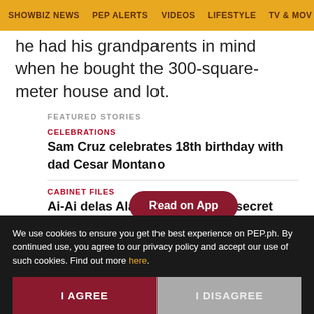SHOWBIZ NEWS | PEP ALERTS | VIDEOS | LIFESTYLE | TV & MOV...
he had his grandparents in mind when he bought the 300-square-meter house and lot.
FEATURED STORIES
CELEBRATIONS
Sam Cruz celebrates 18th birthday with dad Cesar Montano
CABINET FILES
Ai-Ai delas Alas, ib... secret life" niya sa Amerika
Read on App
We use cookies to ensure you get the best experience on PEP.ph. By continued use, you agree to our privacy policy and accept our use of such cookies. Find out more here.
I AGREE
I DISAGREE